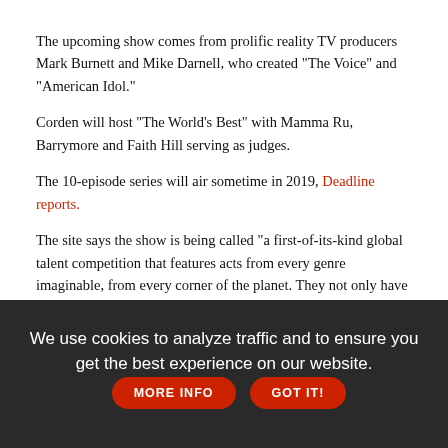The upcoming show comes from prolific reality TV producers Mark Burnett and Mike Darnell, who created "The Voice" and "American Idol."
Corden will host "The World's Best" with Mamma Ru, Barrymore and Faith Hill serving as judges.
The 10-episode series will air sometime in 2019, Deadline reports.
The site says the show is being called "a first-of-its-kind global talent competition that features acts from every genre imaginable, from every corner of the planet. They not only have to impress American judges, but will also need to break through the 'wall of the world,' featuring 50 of the world's most accomplished experts from every field of entertainment. The winning act will ultimately be crowned The World's Best."
We use cookies to analyze traffic and to ensure you get the best experience on our website.